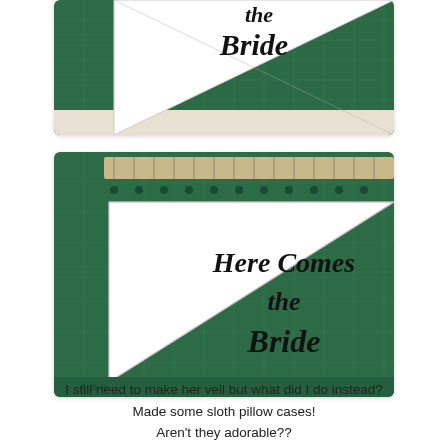[Figure (photo): Top partial photo of a white triangular fabric pennant reading 'Here Comes the Bride' in script font, placed on a green cutting mat]
[Figure (photo): Full photo of a white triangular fabric pennant reading 'Here Comes the Bride' in script font, placed on a green cutting mat with a ruler at the top]
I still need to make her veil but what did I do instead?
Made some sloth pillow cases!
Aren't they adorable??